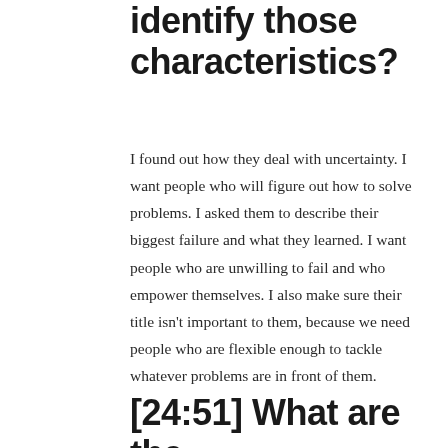identify those characteristics?
I found out how they deal with uncertainty. I want people who will figure out how to solve problems. I asked them to describe their biggest failure and what they learned. I want people who are unwilling to fail and who empower themselves. I also make sure their title isn't important to them, because we need people who are flexible enough to tackle whatever problems are in front of them.
[24:51] What are the